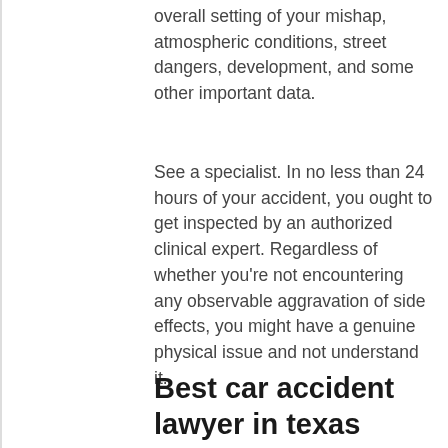overall setting of your mishap, atmospheric conditions, street dangers, development, and some other important data.
See a specialist. In no less than 24 hours of your accident, you ought to get inspected by an authorized clinical expert. Regardless of whether you’re not encountering any observable aggravation of side effects, you might have a genuine physical issue and not understand it.
Wounds, for example, whiplash, a blackout, or a horrendous cerebrum injury can have postponed beginning side effects. Follow your physician’s instructions for treatment and go to all subsequent arrangements.
Best car accident lawyer in texas